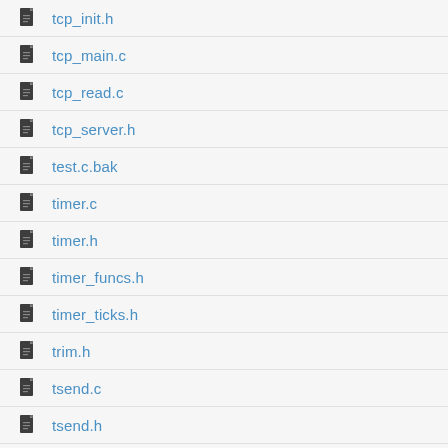tcp_init.h
tcp_main.c
tcp_read.c
tcp_server.h
test.c.bak
timer.c
timer.h
timer_funcs.h
timer_ticks.h
trim.h
tsend.c
tsend.h
types.h